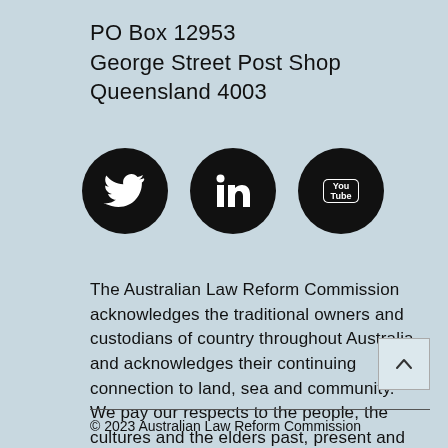PO Box 12953
George Street Post Shop
Queensland 4003
[Figure (logo): Three social media icons (Twitter, LinkedIn, YouTube) as white icons on black circles]
The Australian Law Reform Commission acknowledges the traditional owners and custodians of country throughout Australia and acknowledges their continuing connection to land, sea and community. We pay our respects to the people, the cultures and the elders past, present and emerging.
© 2023 Australian Law Reform Commission